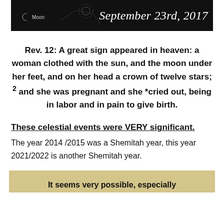[Figure (illustration): Black banner with astronomical illustration and text 'September 23rd, 2017' in italic serif font, with 'Moon' label on the left side]
Rev. 12: A great sign appeared in heaven: a woman clothed with the sun, and the moon under her feet, and on her head a crown of twelve stars; 2 and she was pregnant and she *cried out, being in labor and in pain to give birth.
These celestial events were VERY significant.
The year 2014 /2015 was a Shemitah year, this year 2021/2022 is another Shemitah year.
It seems very possible, especially